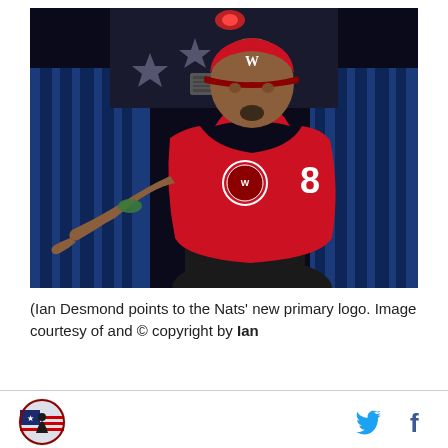[Figure (photo): Ian Desmond wearing a red Washington Nationals jersey and cap, pointing outward on a stage with blue curtain backdrop]
(Ian Desmond points to the Nats' new primary logo. Image courtesy of and © copyright by Ian
[Figure (logo): Small circular logo with American flag and figure, site footer logo]
[Figure (other): Twitter bird icon and Facebook f icon in footer social bar]